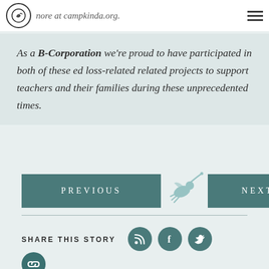more at campkinda.org.
As a B-Corporation we're proud to have participated in both of these ed loss-related related projects to support teachers and their families during these unprecedented times.
[Figure (other): Navigation buttons: PREVIOUS and NEXT with a bird/grasshopper logo in the center]
SHARE THIS STORY
[Figure (other): Social share icons: RSS/feed icon, Facebook icon, Twitter icon, and a link/chain icon]